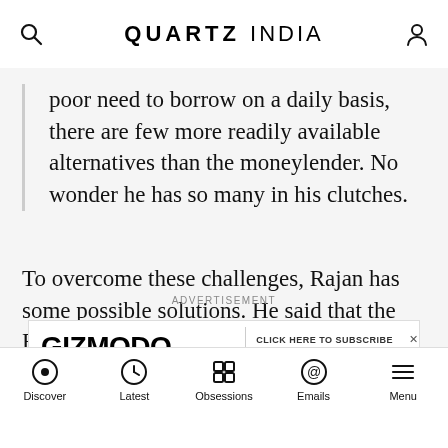QUARTZ INDIA
poor need to borrow on a daily basis, there are few more readily available alternatives than the moneylender. No wonder he has so many in his clutches.
To overcome these challenges, Rajan has some possible solutions. He said that the RBI should continue to direct the banks to open 25% branches in unbanked regions and allocate a certain amount of their loans to the poor, even if it is unprofitable. Offering banks subventions or grants for lending funds to these consumers will also help.
ADVERTISEMENT
[Figure (other): Gizmodo advertisement banner with text: CLICK HERE TO SUBSCRIBE TO OUR NEWSLETTER!]
Discover | Latest | Obsessions | Emails | Menu